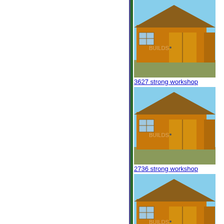[Figure (photo): Wooden workshop/shed building - 3627 strong workshop]
3627 strong workshop
[Figure (photo): Wooden workshop/shed building - 2736 strong workshop]
2736 strong workshop
[Figure (photo): Wooden workshop/shed building - 3330 strong workshop]
3330 strong workshop
[Figure (photo): Wooden workshop/shed building - 3033 strong workshop]
3033 strong workshop
[Figure (photo): Wooden workshop/shed building - 2145-strong workshop]
2145-strong workshop